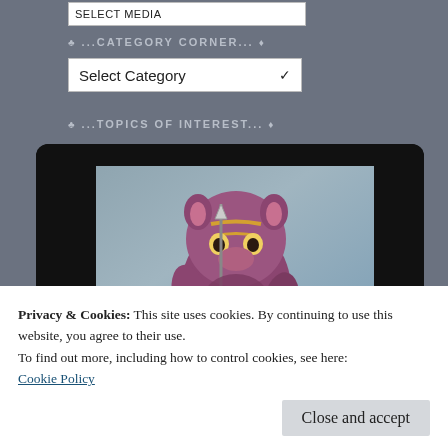[Figure (screenshot): A partial view of a website sidebar showing a truncated select menu at the top (Select Media or similar), a Category Corner dropdown set to 'Select Category', and a Topics of Interest section with a 3D animated character figure displayed on a dark tablet/monitor frame. The character appears to be a purple/pink fantasy creature holding a weapon.]
Privacy & Cookies: This site uses cookies. By continuing to use this website, you agree to their use.
To find out more, including how to control cookies, see here:
Cookie Policy
Close and accept